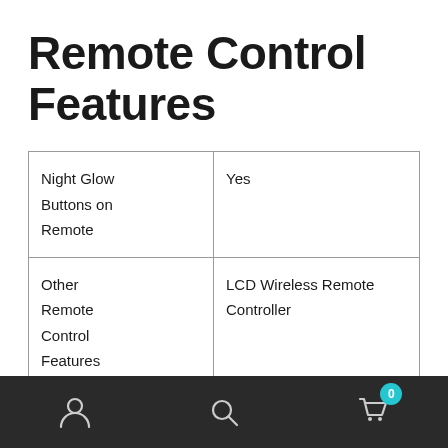Remote Control Features
| Night Glow Buttons on Remote | Yes |
| Other Remote Control Features | LCD Wireless Remote Controller |
[Figure (other): Mobile app bottom navigation bar with user account icon, search icon, and shopping cart icon with badge showing 0]